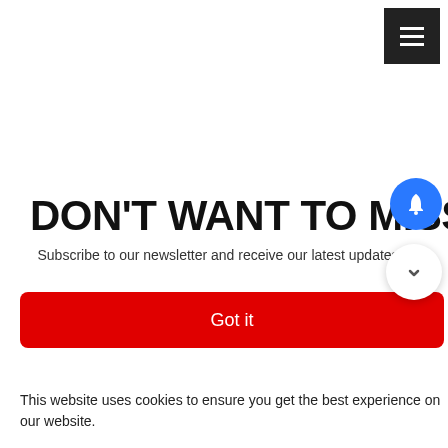[Figure (screenshot): Hamburger menu button (three horizontal lines) on dark background in top-right corner]
DON'T WANT TO MISS ANYTHING
Subscribe to our newsletter and receive our latest updates!
[Figure (other): Blue circular notification bell icon]
[Figure (other): White circular chat widget with downward chevron]
Got it
This website uses cookies to ensure you get the best experience on our website.